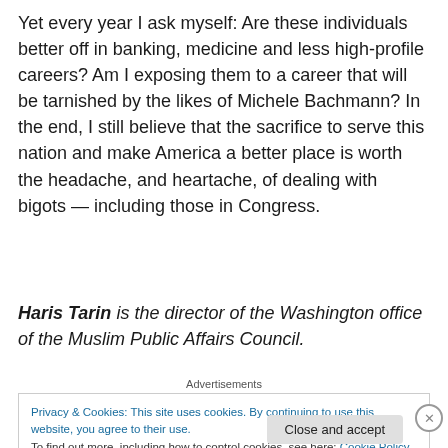Yet every year I ask myself: Are these individuals better off in banking, medicine and less high-profile careers? Am I exposing them to a career that will be tarnished by the likes of Michele Bachmann? In the end, I still believe that the sacrifice to serve this nation and make America a better place is worth the headache, and heartache, of dealing with bigots — including those in Congress.
Haris Tarin is the director of the Washington office of the Muslim Public Affairs Council.
Advertisements
Privacy & Cookies: This site uses cookies. By continuing to use this website, you agree to their use.
To find out more, including how to control cookies, see here: Cookie Policy